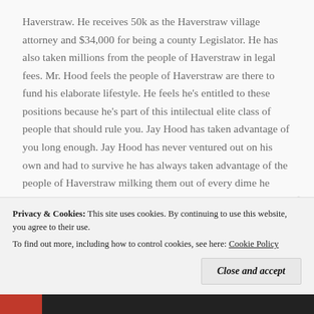Haverstraw. He receives 50k as the Haverstraw village attorney and $34,000 for being a county Legislator. He has also taken millions from the people of Haverstraw in legal fees. Mr. Hood feels the people of Haverstraw are there to fund his elaborate lifestyle. He feels he's entitled to these positions because he's part of this intilectual elite class of people that should rule you. Jay Hood has taken advantage of you long enough. Jay Hood has never ventured out on his own and had to survive he has always taken advantage of the people of Haverstraw milking them out of every dime he could squeeze. Its time to send this coward out into the real world to fend for himself like the rest of us.
Privacy & Cookies: This site uses cookies. By continuing to use this website, you agree to their use. To find out more, including how to control cookies, see here: Cookie Policy